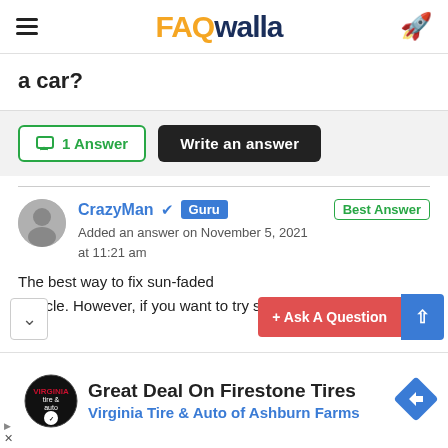FAQwalla
a car?
1 Answer  Write an answer
CrazyMan ✓ Guru  Best Answer
Added an answer on November 5, 2021 at 11:21 am
The best way to fix sun-faded ... vehicle. However, if you want to try something less
[Figure (screenshot): Floating buttons: + Ask A Question (red) and up arrow (blue), plus a chevron down button]
Great Deal On Firestone Tires
Virginia Tire & Auto of Ashburn Farms